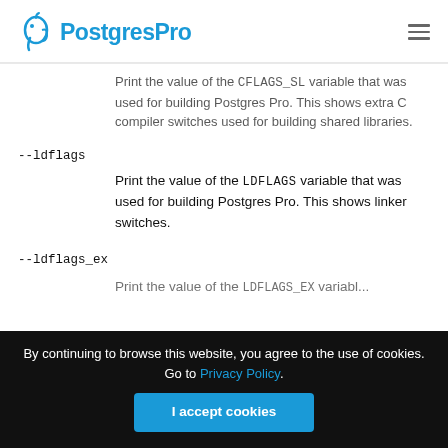PostgresPro
Print the value of the CFLAGS_SL variable that was used for building Postgres Pro. This shows extra C compiler switches used for building shared libraries.
--ldflags
Print the value of the LDFLAGS variable that was used for building Postgres Pro. This shows linker switches.
--ldflags_ex
Print the value of the LDFLAGS_EX variable...
By continuing to browse this website, you agree to the use of cookies. Go to Privacy Policy.